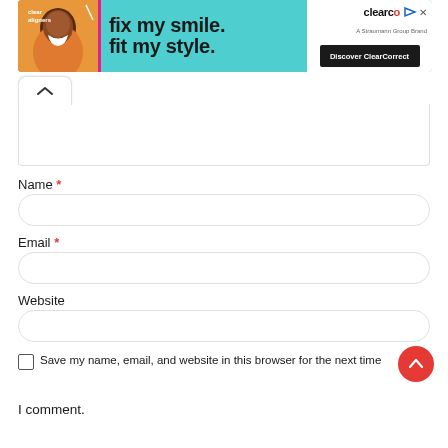[Figure (screenshot): ClearCorrect advertisement banner with a smiling person, teal background, text 'fix my smile. fit my style.' and 'Discover ClearCorrect' button]
[Figure (screenshot): Collapsed comment form with a chevron-up button tab]
Name *
[Figure (screenshot): Name text input field with rounded border]
Email *
[Figure (screenshot): Email text input field with rounded border]
Website
[Figure (screenshot): Website text input field with rounded border]
Save my name, email, and website in this browser for the next time
I comment.